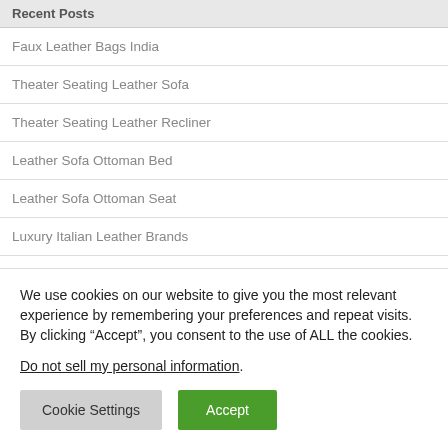Recent Posts
Faux Leather Bags India
Theater Seating Leather Sofa
Theater Seating Leather Recliner
Leather Sofa Ottoman Bed
Leather Sofa Ottoman Seat
Luxury Italian Leather Brands
Designer Italian Leather Dining Chairs
We use cookies on our website to give you the most relevant experience by remembering your preferences and repeat visits. By clicking “Accept”, you consent to the use of ALL the cookies.
Do not sell my personal information.